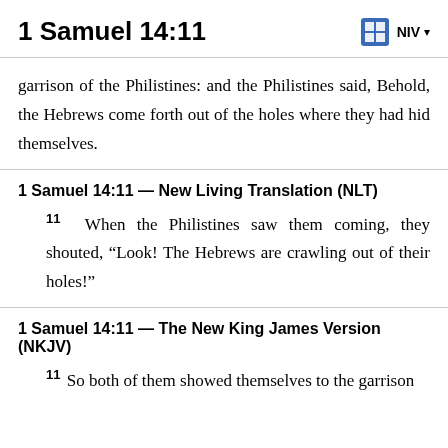1 Samuel 14:11   NIV
garrison of the Philistines: and the Philistines said, Behold, the Hebrews come forth out of the holes where they had hid themselves.
1 Samuel 14:11 — New Living Translation (NLT)
11 When the Philistines saw them coming, they shouted, “Look! The Hebrews are crawling out of their holes!”
1 Samuel 14:11 — The New King James Version (NKJV)
11 So both of them showed themselves to the garrison